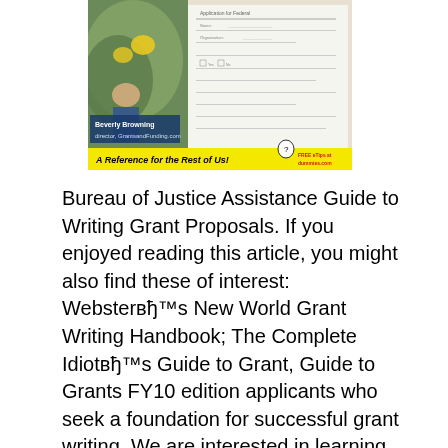[Figure (photo): Book cover showing a 'For Dummies' style reference book about grant writing. Features a yellow banner reading 'A Reference for the Rest of Us!' with a small mascot figure and text 'FREE eTips at dummies.com'. The cover shows a photo of a person and a form/document.]
Bureau of Justice Assistance Guide to Writing Grant Proposals. If you enjoyed reading this article, you might also find these of interest: Websterвђ™s New World Grant Writing Handbook; The Complete Idiotвђ™s Guide to Grant, Guide to Grants FY10 edition applicants who seek a foundation for successful grant writing. We are interested in learning whether this guide has been helpful..